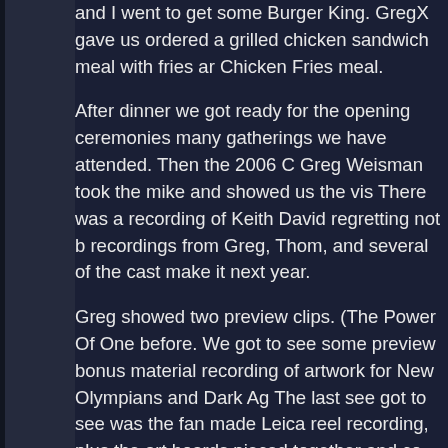and I went to get some Burger King. GregX gave us ordered a grilled chicken sandwich meal with fries ar Chicken Fries meal.
After dinner we got ready for the opening ceremonies many gatherings we have attended. Then the 2006 C Greg Weisman took the mike and showed us the vis There was a recording of Keith David regretting not b recordings from Greg, Thom, and several of the cast make it next year.
Greg showed two preview clips. (The Power Of One before. We got to see some preview bonus material recording of artwork for New Olympians and Dark Ag The last see got to see was the fan made Leica reel recording, plus the art boards pieced together and co Vashkoda (Who did an excellent job)
After Opening Ceremonies I preregistered for next ye stuff of at our room. We went to the Casino where Re Blackjack. When they went to play some video poke the nickel slots. After using up a dollar I went to the I